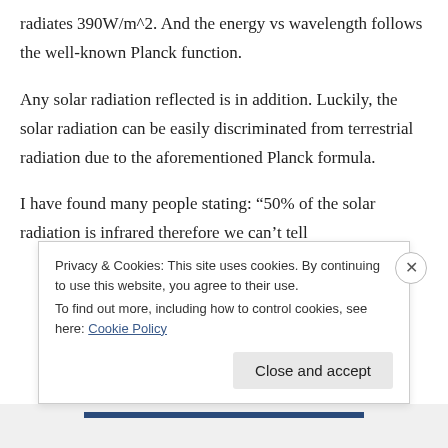radiates 390W/m^2. And the energy vs wavelength follows the well-known Planck function.
Any solar radiation reflected is in addition. Luckily, the solar radiation can be easily discriminated from terrestrial radiation due to the aforementioned Planck formula.
I have found many people stating: “50% of the solar radiation is infrared therefore we can’t tell
Privacy & Cookies: This site uses cookies. By continuing to use this website, you agree to their use.
To find out more, including how to control cookies, see here: Cookie Policy